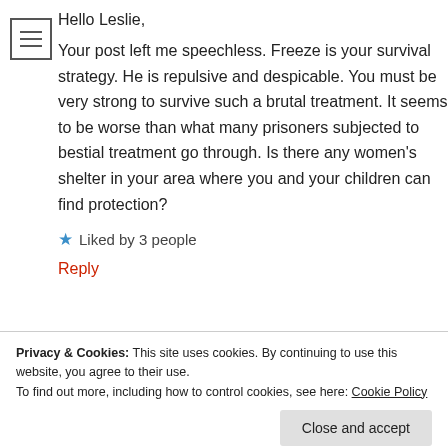[Figure (other): Hamburger menu icon — three horizontal lines inside a square border]
Hello Leslie,
Your post left me speechless. Freeze is your survival strategy. He is repulsive and despicable. You must be very strong to survive such a brutal treatment. It seems to be worse than what many prisoners subjected to bestial treatment go through. Is there any women's shelter in your area where you and your children can find protection?
★ Liked by 3 people
Reply
Privacy & Cookies: This site uses cookies. By continuing to use this website, you agree to their use.
To find out more, including how to control cookies, see here: Cookie Policy
Close and accept